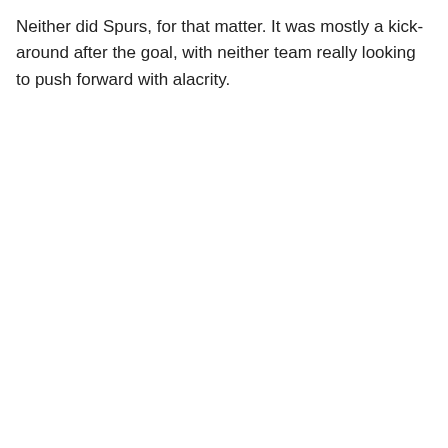Neither did Spurs, for that matter. It was mostly a kick-around after the goal, with neither team really looking to push forward with alacrity.